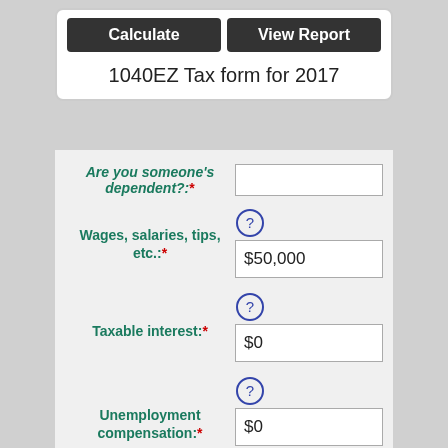[Figure (screenshot): Calculate and View Report buttons]
1040EZ Tax form for 2017
Are you someone's dependent?:*
Wages, salaries, tips, etc.:* $50,000
Taxable interest:* $0
Unemployment compensation:* $0
Standard deduction: $6,350
Deduction for exemptions: $4,050
Taxable income: $39,600